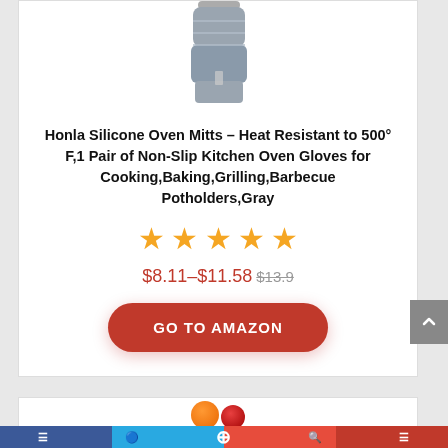[Figure (photo): Gray silicone oven mitt product image, top portion visible]
Honla Silicone Oven Mitts – Heat Resistant to 500° F,1 Pair of Non-Slip Kitchen Oven Gloves for Cooking,Baking,Grilling,Barbecue Potholders,Gray
[Figure (other): 5 orange star rating icons]
$8.11–$11.58 $13.9
GO TO AMAZON
[Figure (photo): Bottom of next product card with fruit images partially visible]
Social media navigation bar at bottom